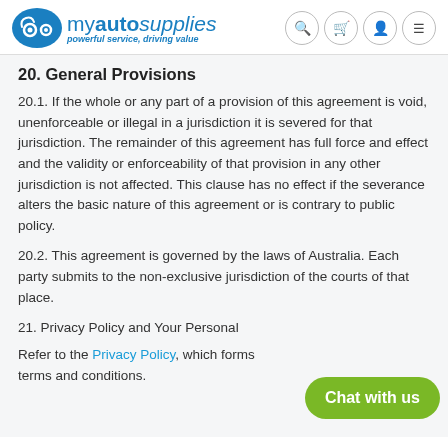myautosupplies — powerful service, driving value
20. General Provisions
20.1. If the whole or any part of a provision of this agreement is void, unenforceable or illegal in a jurisdiction it is severed for that jurisdiction. The remainder of this agreement has full force and effect and the validity or enforceability of that provision in any other jurisdiction is not affected. This clause has no effect if the severance alters the basic nature of this agreement or is contrary to public policy.
20.2. This agreement is governed by the laws of Australia. Each party submits to the non-exclusive jurisdiction of the courts of that place.
21. Privacy Policy and Your Personal
Refer to the Privacy Policy, which forms part of these terms and conditions.